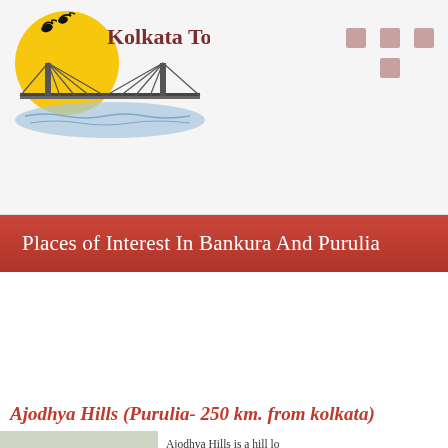[Figure (logo): Kolkata Tours logo with yellow sun, black bridge and birds silhouette illustration]
Kolkata Tours
Places of Interest In Bankura And Purulia
Ajodhya Hills (Purulia- 250 km. from kolkata)
[Figure (photo): Green hills landscape photo - Ajodhya Hills]
Ajodhya Hills is a hill location and extended part of Eastern area is Bagmundi.